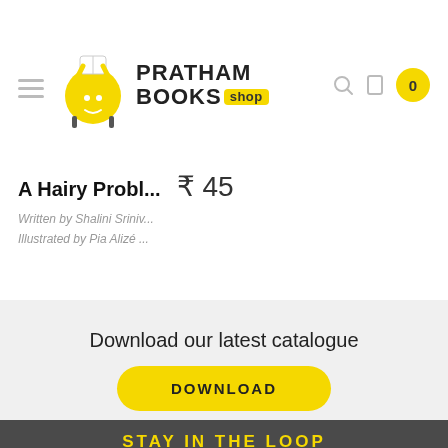[Figure (logo): Pratham Books Shop logo with yellow cartoon character holding a book]
A Hairy Probl... ₹ 45
Written by Shalini Sriniv...
Illustrated by Pia Alizé ...
Download our latest catalogue
DOWNLOAD
STAY IN THE LOOP